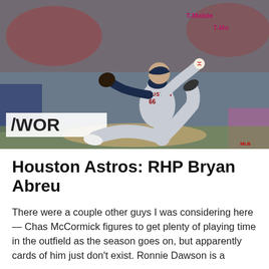[Figure (photo): A Houston Astros pitcher wearing number 66 (Bryan Abreu) in a gray road uniform mid-windup on the pitcher's mound, with a stadium crowd in the background. A partial banner reading 'WOR' is visible on the left side.]
Houston Astros: RHP Bryan Abreu
There were a couple other guys I was considering here — Chas McCormick figures to get plenty of playing time in the outfield as the season goes on, but apparently cards of him just don't exist. Ronnie Dawson is a